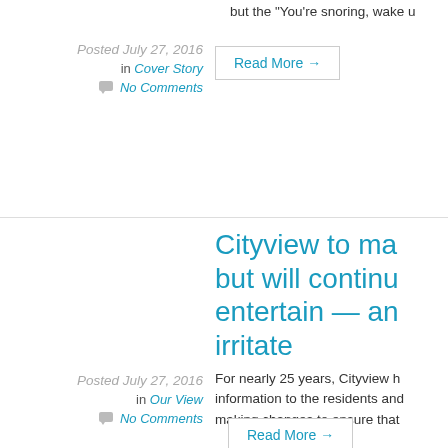but the "You're snoring, wake u
Posted July 27, 2016
in Cover Story
No Comments
Read More →
Cityview to ma but will continu entertain — an irritate
Posted July 27, 2016
in Our View
No Comments
For nearly 25 years, Cityview h information to the residents ano making changes to ensure that
Read More →
Old surfers